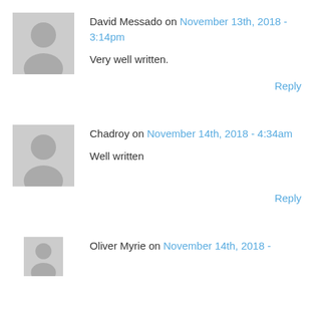David Messado on November 13th, 2018 - 3:14pm
Very well written.
Reply
Chadroy on November 14th, 2018 - 4:34am
Well written
Reply
Oliver Myrie on November 14th, 2018 -